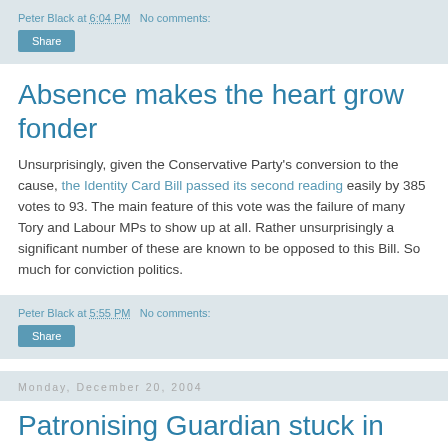Peter Black at 6:04 PM   No comments:
Share
Absence makes the heart grow fonder
Unsurprisingly, given the Conservative Party's conversion to the cause, the Identity Card Bill passed its second reading easily by 385 votes to 93. The main feature of this vote was the failure of many Tory and Labour MPs to show up at all. Rather unsurprisingly a significant number of these are known to be opposed to this Bill. So much for conviction politics.
Peter Black at 5:55 PM   No comments:
Share
Monday, December 20, 2004
Patronising Guardian stuck in mud